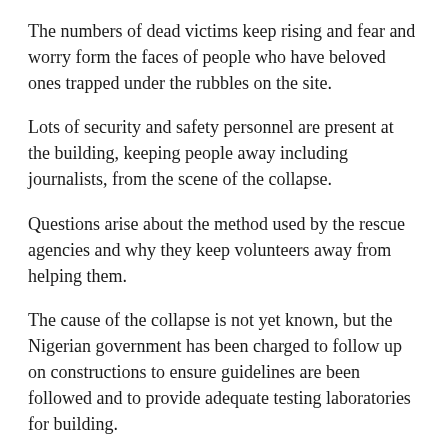The numbers of dead victims keep rising and fear and worry form the faces of people who have beloved ones trapped under the rubbles on the site.
Lots of security and safety personnel are present at the building, keeping people away including journalists, from the scene of the collapse.
Questions arise about the method used by the rescue agencies and why they keep volunteers away from helping them.
The cause of the collapse is not yet known, but the Nigerian government has been charged to follow up on constructions to ensure guidelines are been followed and to provide adequate testing laboratories for building.
The commissioner of police, Hakeem Odumosu promises due investigation would be done once all victims have been rescued from the building. However, prior to the building collapse, some of the workers had noticed patched up cracks on the pillars of the